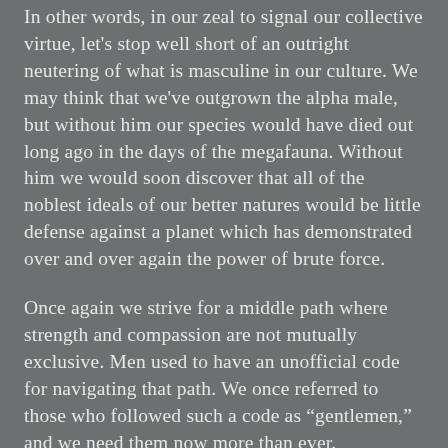In other words, in our zeal to signal our collective virtue, let's stop well short of an outright neutering of what is masculine in our culture. We may think that we've outgrown the alpha male, but without him our species would have died out long ago in the days of the megafauna. Without him we would soon discover that all of the noblest ideals of our better natures would be little defense against a planet which has demonstrated over and over again the power of brute force.
Once again we strive for a middle path where strength and compassion are not mutually exclusive. Men used to have an unofficial code for navigating that path. We once referred to those who followed such a code as “gentlemen,” and we need them now more than ever.